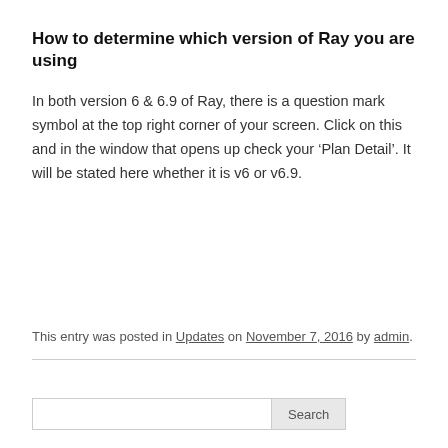How to determine which version of Ray you are using
In both version 6 & 6.9 of Ray, there is a question mark symbol at the top right corner of your screen. Click on this and in the window that opens up check your ‘Plan Detail’. It will be stated here whether it is v6 or v6.9.
This entry was posted in Updates on November 7, 2016 by admin.